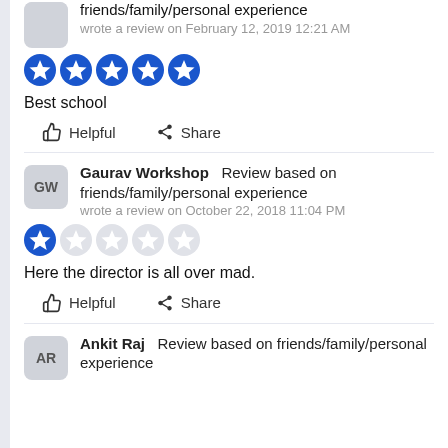friends/family/personal experience
wrote a review on February 12, 2019 12:21 AM
[Figure (other): 5 filled blue star rating icons]
Best school
Helpful   Share
Gaurav Workshop   Review based on friends/family/personal experience
wrote a review on October 22, 2018 11:04 PM
[Figure (other): 1 out of 5 star rating — 1 filled blue star, 4 empty grey stars]
Here the director is all over mad.
Helpful   Share
Ankit Raj   Review based on friends/family/personal experience